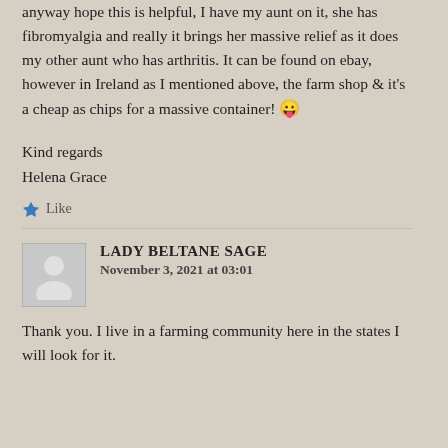anyway hope this is helpful, I have my aunt on it, she has fibromyalgia and really it brings her massive relief as it does my other aunt who has arthritis. It can be found on ebay, however in Ireland as I mentioned above, the farm shop & it's a cheap as chips for a massive container! 😛
Kind regards
Helena Grace
★ Like
LADY BELTANE SAGE
November 3, 2021 at 03:01
Thank you. I live in a farming community here in the states I will look for it.